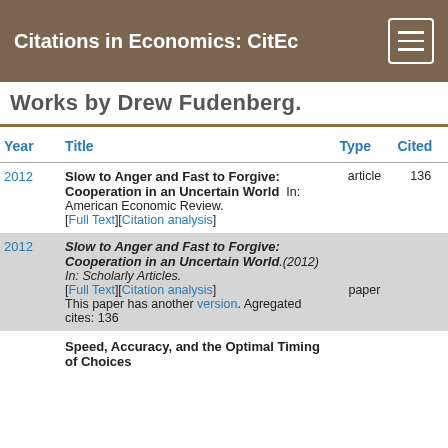Citations in Economics: CitEc
Works by Drew Fudenberg.
| Year | Title | Type | Cited |
| --- | --- | --- | --- |
| 2012 | Slow to Anger and Fast to Forgive: Cooperation in an Uncertain World  In: American Economic Review. [Full Text][Citation analysis] | article | 136 |
| 2012 | Slow to Anger and Fast to Forgive: Cooperation in an Uncertain World.(2012)  In: Scholarly Articles. [Full Text][Citation analysis] This paper has another version. Agregated cites: 136 | paper |  |
|  | Speed, Accuracy, and the Optimal Timing of Choices |  |  |